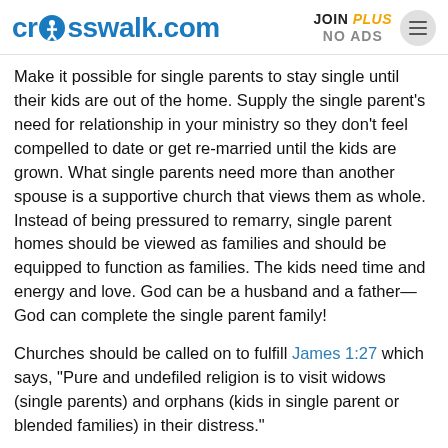crosswalk.com | JOIN PLUS NO ADS
Make it possible for single parents to stay single until their kids are out of the home. Supply the single parent's need for relationship in your ministry so they don't feel compelled to date or get re-married until the kids are grown. What single parents need more than another spouse is a supportive church that views them as whole. Instead of being pressured to remarry, single parent homes should be viewed as families and should be equipped to function as families. The kids need time and energy and love. God can be a husband and a father—God can complete the single parent family!
Churches should be called on to fulfill James 1:27 which says, "Pure and undefiled religion is to visit widows (single parents) and orphans (kids in single parent or blended families) in their distress."